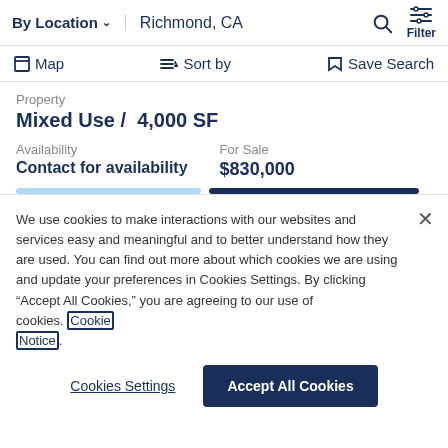By Location ∨  Richmond, CA  🔍 Filter
Map  Sort by  Save Search
Property
Mixed Use /  4,000 SF
Availability
Contact for availability
For Sale
$830,000
We use cookies to make interactions with our websites and services easy and meaningful and to better understand how they are used. You can find out more about which cookies we are using and update your preferences in Cookies Settings. By clicking "Accept All Cookies," you are agreeing to our use of cookies. Cookie Notice.
Cookies Settings  Accept All Cookies